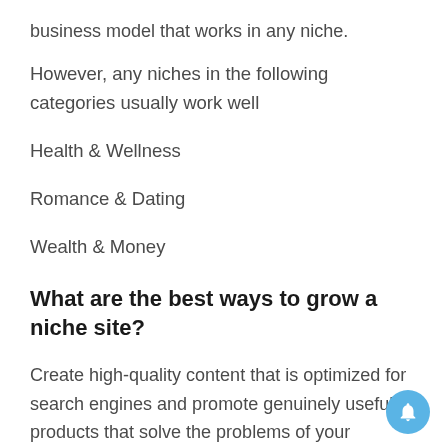business model that works in any niche.
However, any niches in the following categories usually work well
Health & Wellness
Romance & Dating
Wealth & Money
What are the best ways to grow a niche site?
Create high-quality content that is optimized for search engines and promote genuinely useful products that solve the problems of your